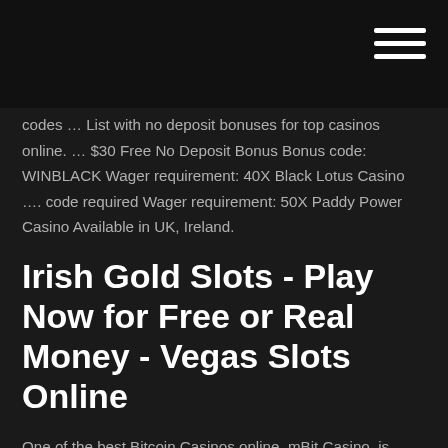[navigation bar with hamburger menu icon]
codes … List with no deposit bonuses for top casinos online. … $30 Free No Deposit Bonus Bonus code: WINBLACK Wager requirement: 40X Black Lotus Casino …. code required Wager requirement: 50X Paddy Power Casino Available in UK, Ireland.
Irish Gold Slots - Play Now for Free or Real Money - Vegas Slots Online
One of the best Bitcoin Casinos online, mBit Casino, is offering players the chance to grab 50 No Deposit Free Spins, plus an extra 250 Free Spins and Mongoose Casino: 20 Free Spins No Deposit! | Online Casino… Mongoose Casino offers new players the chance to claim 20 No